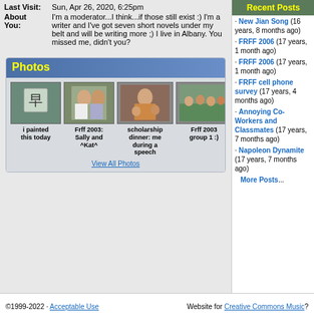Last Visit: Sun, Apr 26, 2020, 6:25pm
About You: I'm a moderator...I think...if those still exist :) I'm a writer and I've got seven short novels under my belt and will be writing more ;) I live in Albany. You missed me, didn't you?
Photos
[Figure (photo): Photo: i painted this today - a painted stone with Chinese character]
i painted this today
[Figure (photo): Frff 2003: Sally and ^Kat^ - two women posing]
Frff 2003: Sally and ^Kat^
[Figure (photo): scholarship dinner: me during a speech - woman at podium]
scholarship dinner: me during a speech
[Figure (photo): Frff 2003 group 1 :) - group photo]
Frff 2003 group 1 :)
View All Photos
Recent Posts
New Jian Song (16 years, 8 months ago)
FRFF 2006 (17 years, 1 month ago)
FRFF 2006 (17 years, 1 month ago)
FRFF cell phone survey (17 years, 4 months ago)
Annoying Co-Workers and Classmates (17 years, 7 months ago)
Napoleon Dynamite (17 years, 7 months ago)
More Posts...
©1999-2022 · Acceptable Use   Website for Creative Commons Music?